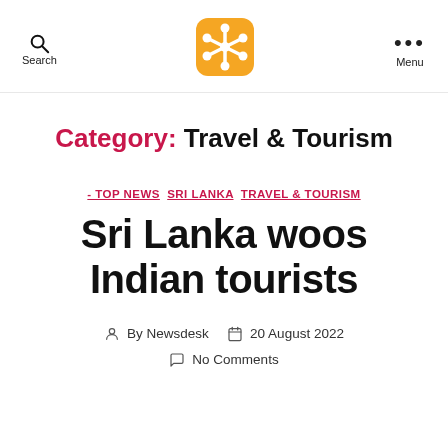Search | [Logo] | Menu
Category: Travel & Tourism
- TOP NEWS  SRI LANKA  TRAVEL & TOURISM
Sri Lanka woos Indian tourists
By Newsdesk  20 August 2022  No Comments